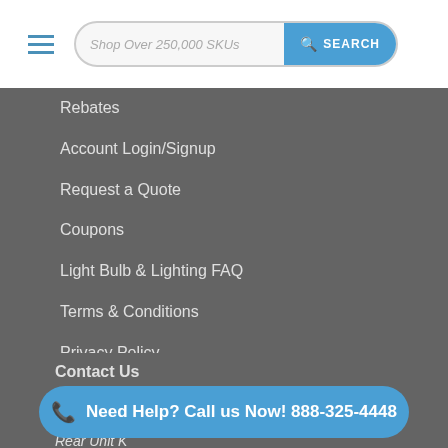Shop Over 250,000 SKUs  SEARCH
Rebates
Account Login/Signup
Request a Quote
Coupons
Light Bulb & Lighting FAQ
Terms & Conditions
Privacy Policy
Shipping & Returns
Top Commercial & Residential Lighting Manufacturers in the USA
Contact Us
Lighting Supply
1750...
Rear Unit K
Need Help? Call us Now! 888-325-4448